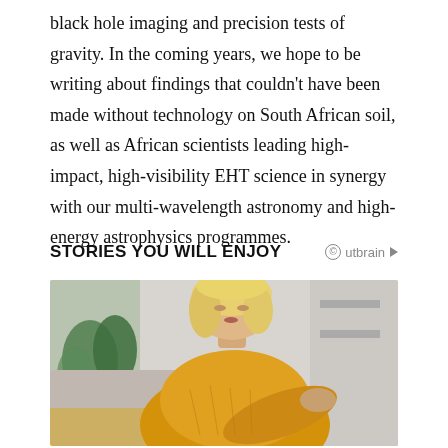black hole imaging and precision tests of gravity. In the coming years, we hope to be writing about findings that couldn't have been made without technology on South African soil, as well as African scientists leading high-impact, high-visibility EHT science in synergy with our multi-wavelength astronomy and high-energy astrophysics programmes.
STORIES YOU WILL ENJOY
[Figure (photo): A young blonde woman wearing a yellow knit sweater, sitting on a couch, looking down at her arm/wrist. Indoor setting with plants and grey furniture visible in the background.]